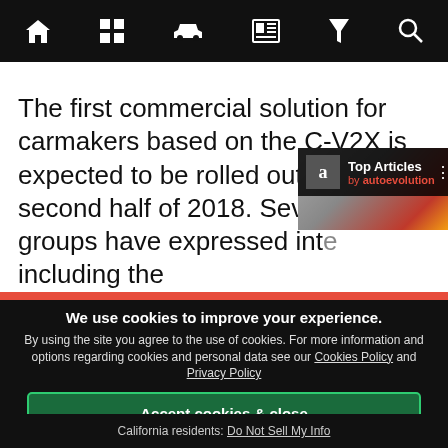Navigation bar with home, grid, car, news, filter, search icons
The first commercial solution for carmakers based on the C-V2X is expected to be rolled out in the second half of 2018. Several auto groups have expressed int… including the…
[Figure (screenshot): Top Articles by autoevolution widget overlay with car image background]
We use cookies to improve your experience. By using the site you agree to the use of cookies. For more information and options regarding cookies and personal data see our Cookies Policy and Privacy Policy
Accept cookies & close
California residents: Do Not Sell My Info